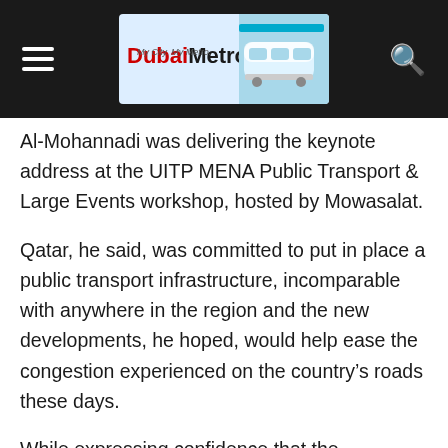Dubai Metro
Al-Mohannadi was delivering the keynote address at the UITP MENA Public Transport & Large Events workshop, hosted by Mowasalat.
Qatar, he said, was committed to put in place a public transport infrastructure, incomparable with anywhere in the region and the new developments, he hoped, would help ease the congestion experienced on the country’s roads these days.
While expressing confidence that the implementation of the railway infrastructure would ease help decongest the city roads, the CEO felt it would also help attract a large segment of the population to the public transport. “Eventually the new developments in the public transport movement will give a